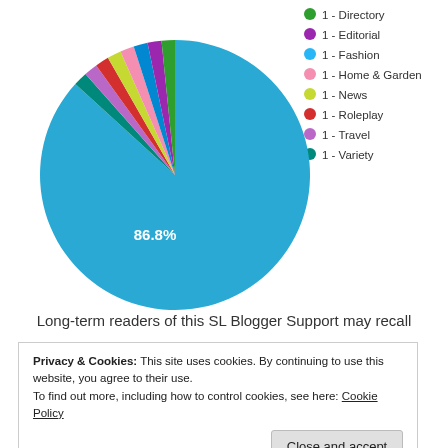[Figure (pie-chart): ]
Long-term readers of this SL Blogger Support may recall
Privacy & Cookies: This site uses cookies. By continuing to use this website, you agree to their use.
To find out more, including how to control cookies, see here: Cookie Policy